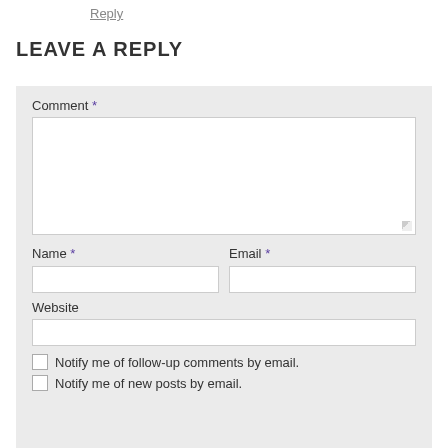Reply
LEAVE A REPLY
Comment *
Name *
Email *
Website
Notify me of follow-up comments by email.
Notify me of new posts by email.